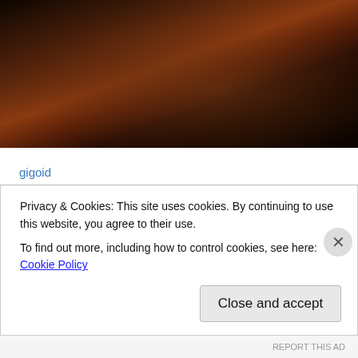[Figure (photo): Dark photograph showing the back/top of a person's head with long dark hair, dark background]
gigoid
Ned Moore, aka gigoid, is a 70 year-old, (!!!… When did that happen?….), retired dilettante, who would rather read than eat, most days. His first blog, "gigoid's folly", has been emailed out to folks he knows for about 18 years now. He still considers it his best defense against angst, and the ever-present specter of sheer insanity..... Due to
Privacy & Cookies: This site uses cookies. By continuing to use this website, you agree to their use.
To find out more, including how to control cookies, see here: Cookie Policy
Close and accept